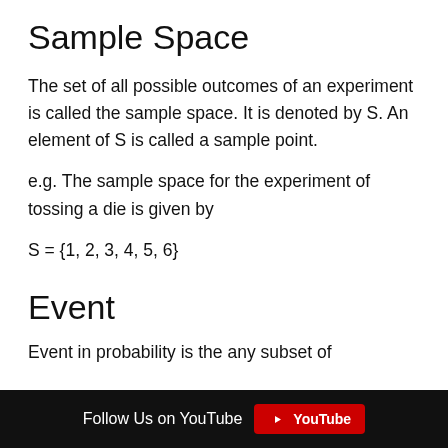Sample Space
The set of all possible outcomes of an experiment is called the sample space. It is denoted by S. An element of S is called a sample point.
e.g. The sample space for the experiment of tossing a die is given by
Event
Event in probability is the any subset of
Follow Us on YouTube  YouTube